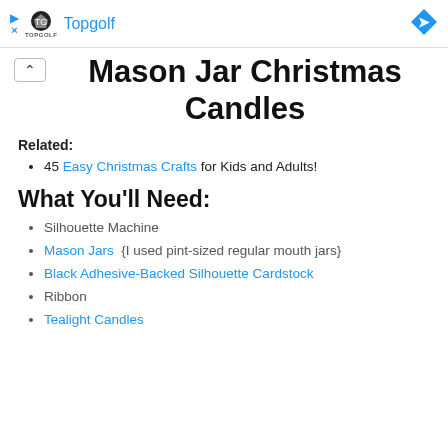[Figure (screenshot): Topgolf advertisement banner with logo, name in blue, and a blue diamond arrow icon on the right. Play and X icons on the left.]
Mason Jar Christmas Candles
Related:
45 Easy Christmas Crafts for Kids and Adults!
What You'll Need:
Silhouette Machine
Mason Jars  {I used pint-sized regular mouth jars}
Black Adhesive-Backed Silhouette Cardstock
Ribbon
Tealight Candles